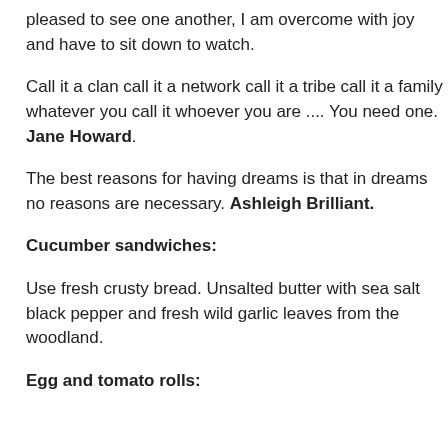pleased to see one another, I am overcome with joy and have to sit down to watch.
Call it a clan call it a network call it a tribe call it a family whatever you call it whoever you are .... You need one.  Jane Howard.
The best reasons for having dreams is that in dreams no reasons are necessary. Ashleigh Brilliant.
Cucumber sandwiches:
Use fresh crusty bread. Unsalted butter with sea salt black pepper and fresh wild garlic leaves from the woodland.
Egg and tomato rolls: